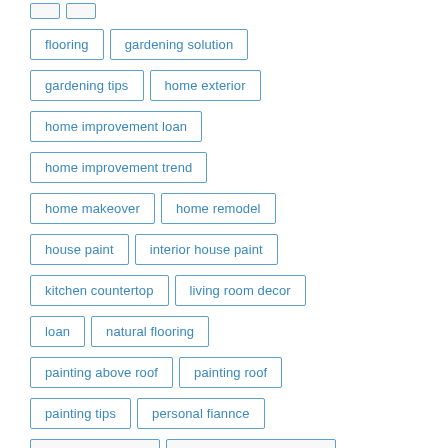flooring
gardening solution
gardening tips
home exterior
home improvement loan
home improvement trend
home makeover
home remodel
house paint
interior house paint
kitchen countertop
living room decor
loan
natural flooring
painting above roof
painting roof
painting tips
personal fiannce